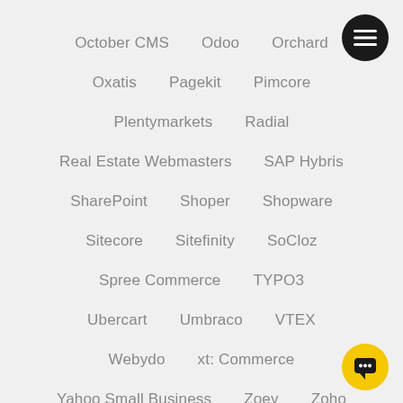October CMS
Odoo
Orchard
Oxatis
Pagekit
Pimcore
Plentymarkets
Radial
Real Estate Webmasters
SAP Hybris
SharePoint
Shoper
Shopware
Sitecore
Sitefinity
SoCloz
Spree Commerce
TYPO3
Ubercart
Umbraco
VTEX
Webydo
xt: Commerce
Yahoo Small Business
Zoey
Zoho